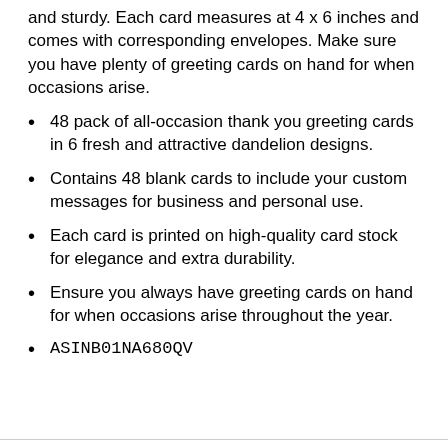and sturdy. Each card measures at 4 x 6 inches and comes with corresponding envelopes. Make sure you have plenty of greeting cards on hand for when occasions arise.
48 pack of all-occasion thank you greeting cards in 6 fresh and attractive dandelion designs.
Contains 48 blank cards to include your custom messages for business and personal use.
Each card is printed on high-quality card stock for elegance and extra durability.
Ensure you always have greeting cards on hand for when occasions arise throughout the year.
ASINB01NA680QV